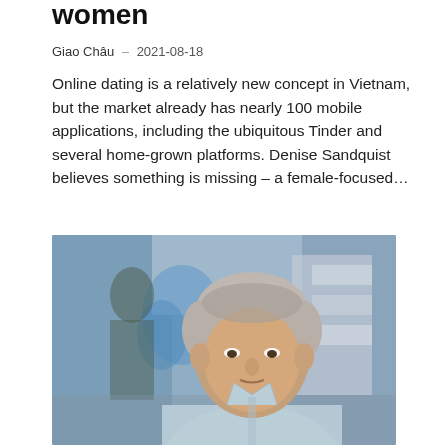women
Giao Châu · 2021-08-18
Online dating is a relatively new concept in Vietnam, but the market already has nearly 100 mobile applications, including the ubiquitous Tinder and several home-grown platforms. Denise Sandquist believes something is missing – a female-focused...
[Figure (photo): Portrait photo of a middle-aged man with grey hair wearing a light blue shirt, standing in a blurred indoor background that appears to be a store or laboratory with blue lighting and shelves.]